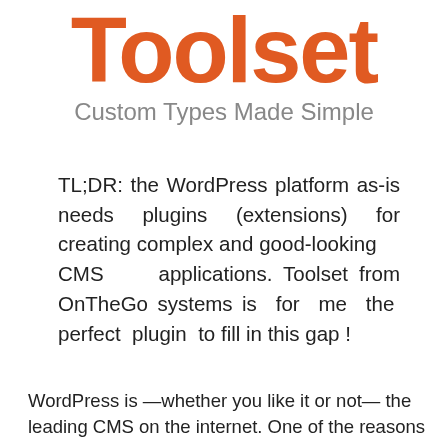[Figure (logo): Toolset logo in orange bold text, partially cropped at top]
Custom Types Made Simple
TL;DR: the WordPress platform as-is needs plugins (extensions) for creating complex and good-looking CMS applications. Toolset from OnTheGo systems is for me the perfect plugin to fill in this gap !
WordPress is —whether you like it or not— the leading CMS on the internet. One of the reasons